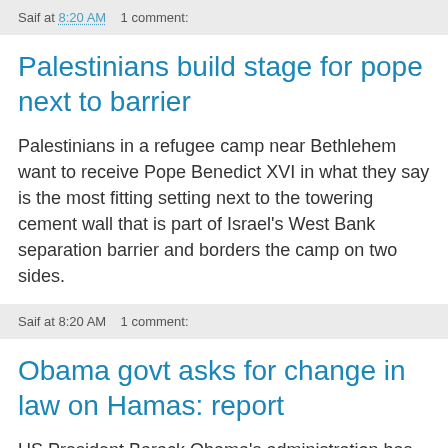Saif at 8:20 AM    1 comment:
Palestinians build stage for pope next to barrier
Palestinians in a refugee camp near Bethlehem want to receive Pope Benedict XVI in what they say is the most fitting setting next to the towering cement wall that is part of Israel's West Bank separation barrier and borders the camp on two sides.
Saif at 8:20 AM    1 comment:
Obama govt asks for change in law on Hamas: report
US President Barack Obama's administration has asked